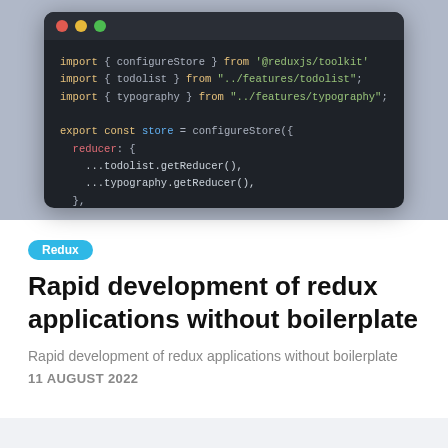[Figure (screenshot): Dark-themed code editor window showing Redux store configuration code in JavaScript/TypeScript. Three traffic-light dots in the title bar. Code imports configureStore from @reduxjs/toolkit, todolist and typography from feature files, then exports a const store using configureStore with a reducer combining todolist.getReducer() and typography.getReducer().]
Redux
Rapid development of redux applications without boilerplate
Rapid development of redux applications without boilerplate
11 AUGUST 2022